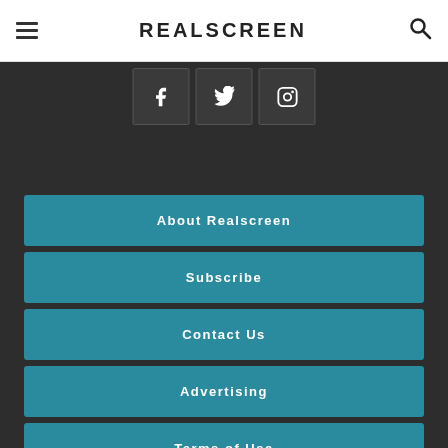REALSCREEN
[Figure (other): Social media icons: Facebook, Twitter, Instagram]
About Realscreen
Subscribe
Contact Us
Advertising
Terms of Use